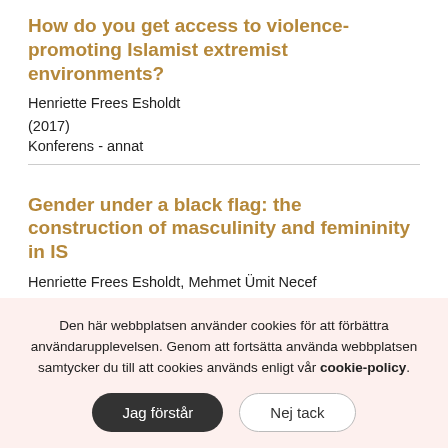How do you get access to violence-promoting Islamist extremist environments?
Henriette Frees Esholdt
(2017)
Konferens - annat
Gender under a black flag: the construction of masculinity and femininity in IS
Henriette Frees Esholdt, Mehmet Ümit Necef
(2016)
Den här webbplatsen använder cookies för att förbättra användarupplevelsen. Genom att fortsätta använda webbplatsen samtycker du till att cookies används enligt vår cookie-policy.